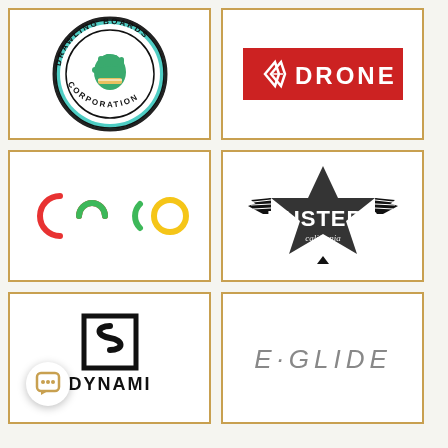[Figure (logo): Drawling Boards circular logo with green fist and teal circle, text around the border]
[Figure (logo): DRONE logo: white text on red rectangle with angular diamond-arrow icon]
[Figure (logo): DSCO logo: colorful semicircle and circle shapes in red, yellow, and green]
[Figure (logo): DUSTERS California logo: black star/wing emblem with distressed text]
[Figure (logo): DYNAMI logo: black square S-shape icon above bold black DYNAMI text]
[Figure (logo): E-GLIDE logo: gray italic stylized text on white background]